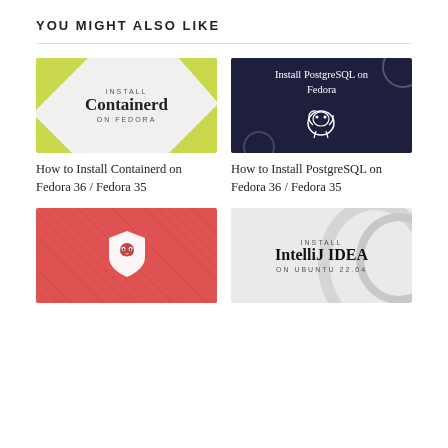YOU MIGHT ALSO LIKE
[Figure (illustration): Thumbnail for 'Install Containerd on Fedora' post — white/light background with yellow-green diamond/triangle corner shapes and text 'INSTALL Containerd ON FEDORA']
[Figure (illustration): Thumbnail for 'Install PostgreSQL on Fedora' post — dark navy background with PostgreSQL elephant logo and decorative circles, text 'Install PostgreSQL on Fedora']
How to Install Containerd on Fedora 36 / Fedora 35
How to Install PostgreSQL on Fedora 36 / Fedora 35
[Figure (illustration): Thumbnail for Brave browser post — red/coral background with diagonal texture pattern and white Brave lion logo]
[Figure (illustration): Thumbnail for 'Install IntelliJ IDEA on Ubuntu 22.04' post — light grey background with arc/circle decorative elements and text 'INSTALL IntelliJ IDEA ON UBUNTU 22.04']